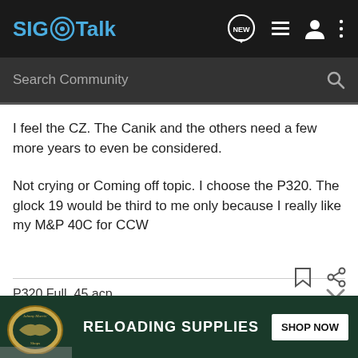SIG Talk
Search Community
I feel the CZ. The Canik and the others need a few more years to even be considered.
Not crying or Coming off topic. I choose the P320. The glock 19 would be third to me only because I really like my M&P 40C for CCW
P320 Full .45 acp
P320 Full 9mm
[Figure (screenshot): Bass Pro Shops advertisement banner: RELOADING SUPPLIES — SHOP NOW button on dark green background with Bass Pro Shops logo]